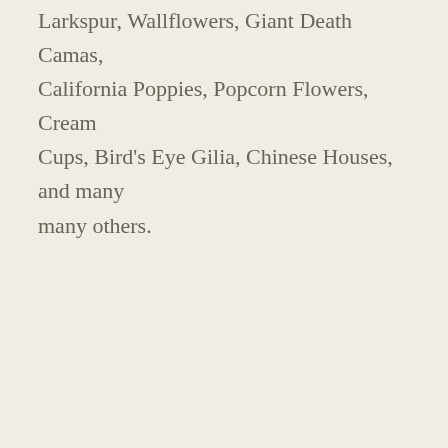Larkspur, Wallflowers, Giant Death Camas, California Poppies, Popcorn Flowers, Cream Cups, Bird's Eye Gilia, Chinese Houses, and many many others.
AVAILABILITY
Fitness: EASY
Visible Signage: ✗
Parking: ✗
Horses: ✗
Pets: ✓